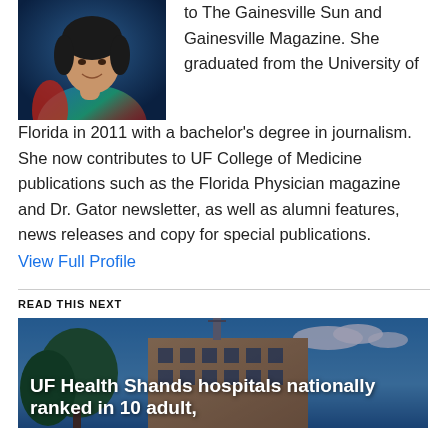[Figure (photo): Profile photo of a woman in a colorful sleeveless top against a dark background]
to The Gainesville Sun and Gainesville Magazine. She graduated from the University of Florida in 2011 with a bachelor's degree in journalism. She now contributes to UF College of Medicine publications such as the Florida Physician magazine and Dr. Gator newsletter, as well as alumni features, news releases and copy for special publications.
View Full Profile
READ THIS NEXT
[Figure (photo): Photo of UF Health Shands hospital building with blue sky and trees]
UF Health Shands hospitals nationally ranked in 10 adult,